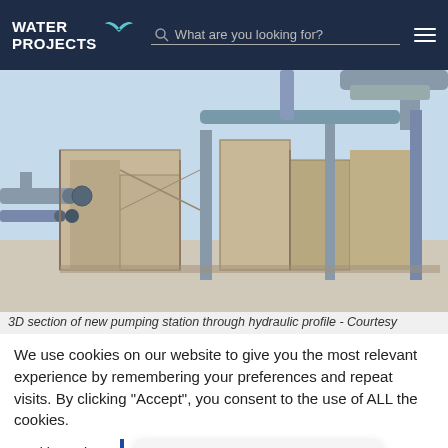WATER PROJECTS — navigation bar with search
[Figure (photo): 3D section rendering of a new pumping station through hydraulic profile, showing concrete chambers and steel pipework in a cutaway 3D model view]
3D section of new pumping station through hydraulic profile - Courtesy
We use cookies on our website to give you the most relevant experience by remembering your preferences and repeat visits. By clicking "Accept", you consent to the use of ALL the cookies.
Cookie settings
We're offline
Leave a message